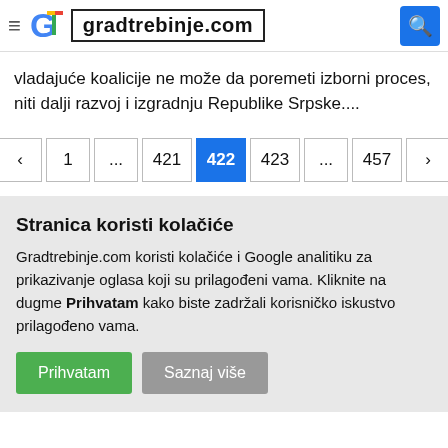gradtrebinje.com
vladajuće koalicije ne može da poremeti izborni proces, niti dalji razvoj i izgradnju Republike Srpske....
Pagination: < 1 ... 421 422 423 ... 457 >
Stranica koristi kolačiće
Gradtrebinje.com koristi kolačiće i Google analitiku za prikazivanje oglasa koji su prilagođeni vama. Kliknite na dugme Prihvatam kako biste zadržali korisničko iskustvo prilagođeno vama.
Prihvatam | Saznaj više